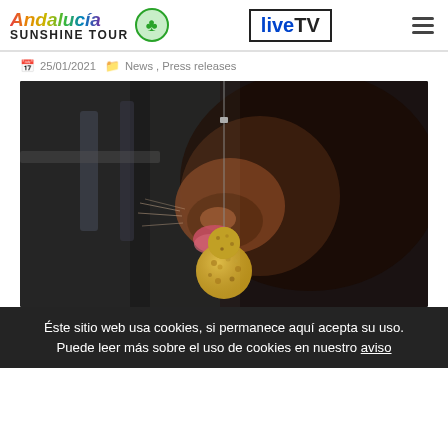Andalucía Sunshine Tour | liveTV
25/01/2021  News , Press releases
[Figure (photo): Close-up photograph of a horse's muzzle licking a hanging treat ball (likely a salt or mineral lick), dark background with blurred stable bars, warm sunlight on the horse's face.]
Éste sitio web usa cookies, si permanece aquí acepta su uso. Puede leer más sobre el uso de cookies en nuestro aviso